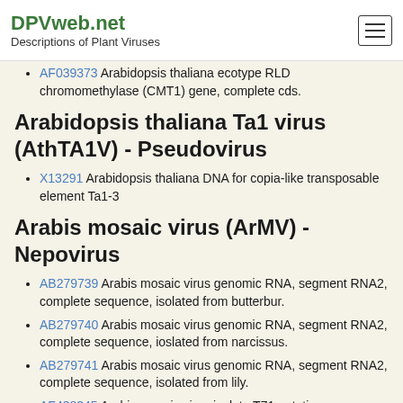DPVweb.net
Descriptions of Plant Viruses
AF039373 Arabidopsis thaliana ecotype RLD chromomethylase (CMT1) gene, complete cds.
Arabidopsis thaliana Ta1 virus (AthTA1V) - Pseudovirus
X13291 Arabidopsis thaliana DNA for copia-like transposable element Ta1-3
Arabis mosaic virus (ArMV) - Nepovirus
AB279739 Arabis mosaic virus genomic RNA, segment RNA2, complete sequence, isolated from butterbur.
AB279740 Arabis mosaic virus genomic RNA, segment RNA2, complete sequence, ioslated from narcissus.
AB279741 Arabis mosaic virus genomic RNA, segment RNA2, complete sequence, isolated from lily.
AF438345 Arabis mosaic virus isolate T71 putative